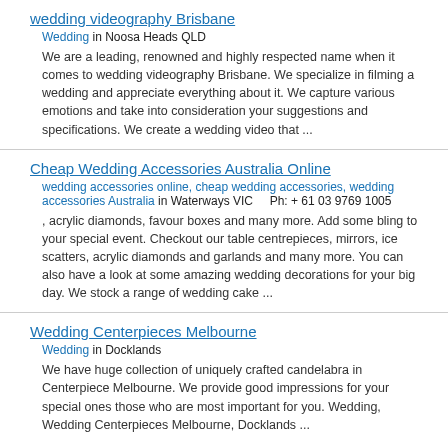wedding videography Brisbane
Wedding in Noosa Heads QLD
We are a leading, renowned and highly respected name when it comes to wedding videography Brisbane. We specialize in filming a wedding and appreciate everything about it. We capture various emotions and take into consideration your suggestions and specifications. We create a wedding video that ...
Cheap Wedding Accessories Australia Online
wedding accessories online, cheap wedding accessories, wedding accessories Australia in Waterways VIC    Ph: + 61 03 9769 1005
, acrylic diamonds, favour boxes and many more. Add some bling to your special event. Checkout our table centrepieces, mirrors, ice scatters, acrylic diamonds and garlands and many more. You can also have a look at some amazing wedding decorations for your big day. We stock a range of wedding cake ...
Wedding Centerpieces Melbourne
Wedding in Docklands
We have huge collection of uniquely crafted candelabra in Centerpiece Melbourne. We provide good impressions for your special ones those who are most important for you. Wedding, Wedding Centerpieces Melbourne, Docklands ...